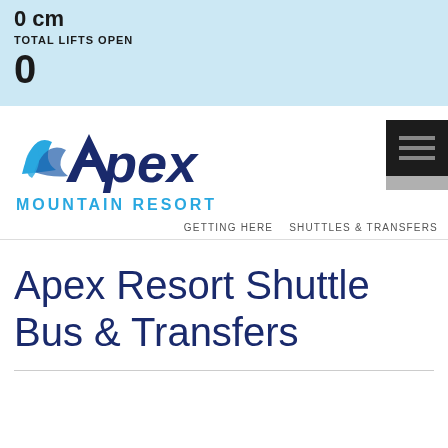0 cm
TOTAL LIFTS OPEN
0
[Figure (logo): Apex Mountain Resort logo with blue mountain/wave icon and dark blue Apex text]
MOUNTAIN RESORT
GETTING HERE   SHUTTLES & TRANSFERS
Apex Resort Shuttle Bus & Transfers